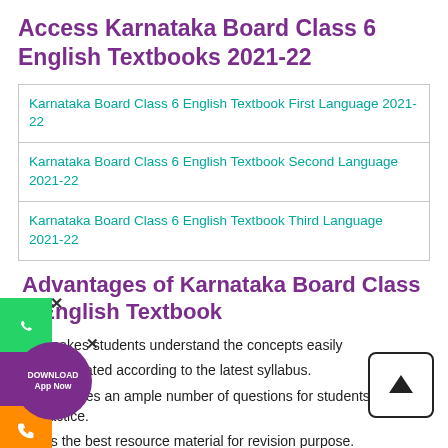Access Karnataka Board Class 6 English Textbooks 2021-22
| Karnataka Board Class 6 English Textbook First Language 2021-22 |
| Karnataka Board Class 6 English Textbook Second Language 2021-22 |
| Karnataka Board Class 6 English Textbook Third Language 2021-22 |
Advantages of Karnataka Board Class 6 English Textbook
It makes students understand the concepts easily
It is updated according to the latest syllabus.
It provides an ample number of questions for students to practice.
It is the best resource material for revision purpose.